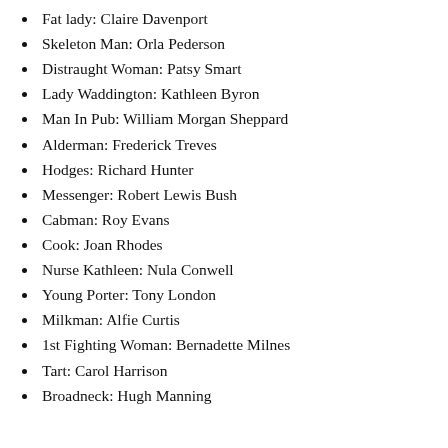Fat lady: Claire Davenport
Skeleton Man: Orla Pederson
Distraught Woman: Patsy Smart
Lady Waddington: Kathleen Byron
Man In Pub: William Morgan Sheppard
Alderman: Frederick Treves
Hodges: Richard Hunter
Messenger: Robert Lewis Bush
Cabman: Roy Evans
Cook: Joan Rhodes
Nurse Kathleen: Nula Conwell
Young Porter: Tony London
Milkman: Alfie Curtis
1st Fighting Woman: Bernadette Milnes
Tart: Carol Harrison
Broadneck: Hugh Manning